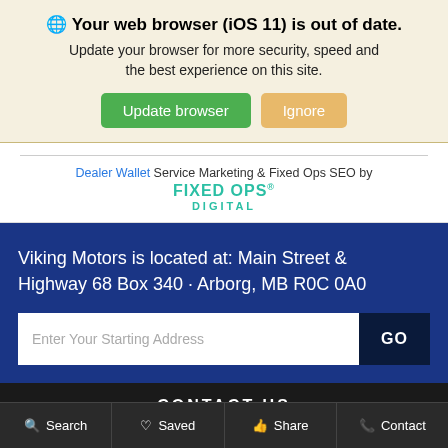🌐 Your web browser (iOS 11) is out of date. Update your browser for more security, speed and the best experience on this site.
Update browser | Ignore
Dealer Wallet Service Marketing & Fixed Ops SEO by FIXED OPS DIGITAL
Viking Motors is located at: Main Street & Highway 68 Box 340 · Arborg, MB R0C 0A0
Enter Your Starting Address  GO
CONTACT US
Search  Saved  Share  Contact